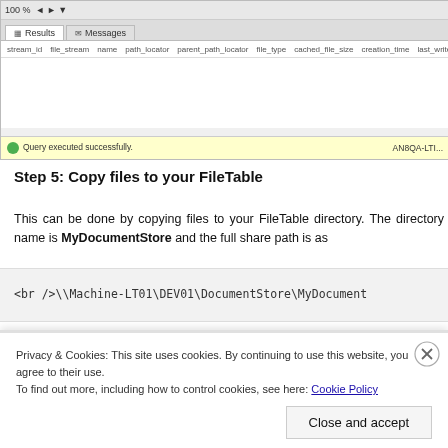[Figure (screenshot): SQL Server Management Studio screenshot showing Results and Messages tabs, column headers (stream_id, file_stream, name, path_locator, parent_path_locator, file_type, cached_file_size, creation_time, last_write_time, last_access_time, is_directory), and a status bar showing 'Query executed successfully.' and 'ANQA-LT...']
Step 5: Copy files to your FileTable
This can be done by copying files to your FileTable directory. The directory name is MyDocumentStore and the full share path is as
<br />\\Machine-LT01\DEV01\DocumentStore\MyDocument
Privacy & Cookies: This site uses cookies. By continuing to use this website, you agree to their use.
To find out more, including how to control cookies, see here: Cookie Policy
Close and accept